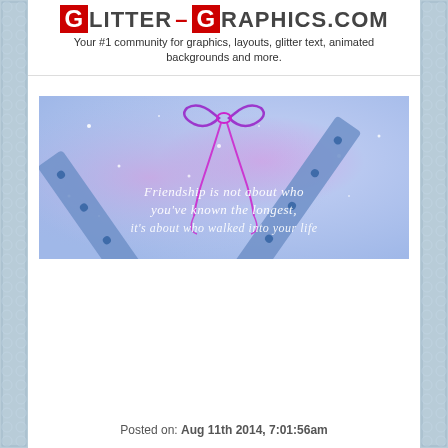GLITTER-GRAPHICS.COM
Your #1 community for graphics, layouts, glitter text, animated backgrounds and more.
[Figure (illustration): Decorative friendship graphic with blue diagonal rails/bars crossed in a V shape with a magenta bow at the top, purple and blue watercolor background with sparkles, and white text reading: Friendship is not about who you've known the longest, it's about who walked into your life]
Posted on: Aug 11th 2014, 7:01:56am